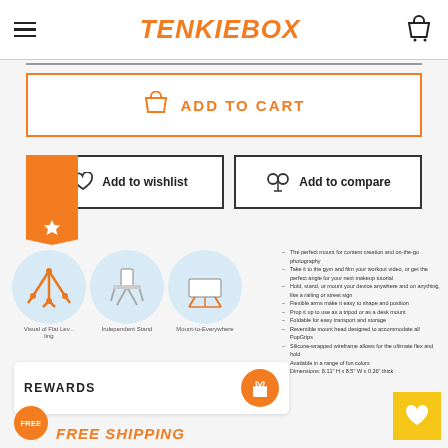TENKIEBOX
[Figure (screenshot): Add to cart button with shopping bag icon, orange border]
[Figure (screenshot): Add to wishlist and Add to compare buttons with orange bookmark tab]
[Figure (illustration): Three product thumbnail images: Visual of Flat Leveling, Independent Stand, Mount-to-Everywhere]
The perfect mount for content creation and on-the-go photography
Take it to the gym and film your workout video, or get the perfect angle for your next makeup tutorial
Hold, stand, or mount your device anywhere and on anything, like a railing or street sign
Flexible arms make it easy to shape and position
Prop it up to use as a tripod or as a desk mount
Foldable for easy transport and storage
Reversible mount head designed to accommodate all PopGrips
Silicone-wrapped wireframe allows for the ultimate flex and hold
Available in a range of fun colors
Dimensions: 8.11" H x 8.5" W x 0.26" thick
REWARDS
FREE
FREE SHIPPING